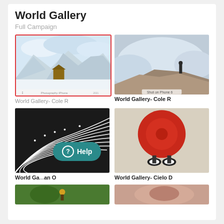World Gallery
Full Campaign
[Figure (photo): Snowy mountain landscape with a small wooden barn, red border selected state, with Apple logo and 'Photography iPhone' text at bottom]
World Gallery- Cole R
[Figure (photo): Person standing on rocky mountain peak above clouds, with 'Shot on Phone 6' badge]
World Gallery- Cole R
[Figure (photo): Aerial black and white photo of curved road lines with small people walking]
World Ga... an O
[Figure (photo): Overhead view of person with red umbrella and shoes visible]
World Gallery- Cielo D
[Figure (photo): Green field with person, partially visible at bottom]
[Figure (photo): Close-up photo, partially visible at bottom]